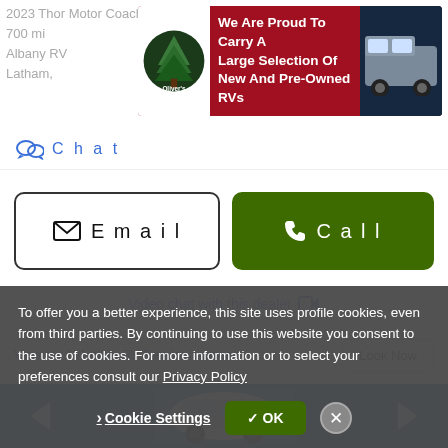2023 Thor Motor Coach Axis 24.4
700 mi
Albany RV
Latham,
[Figure (advertisement): Oliver's RV dealership ad banner: red background, white text 'We Are Proud To Carry A Large Selection Of New And Pre-Owned RVs', Oliver's logo on left, RV image on right]
Chat
Email
Call
Video chat with this dealer
View our 101 other RV Retailer locations
Look Now
[Figure (photo): Blue panel with partial RV image in center]
To offer you a better experience, this site uses profile cookies, even from third parties. By continuing to use this website you consent to the use of cookies. For more information or to select your preferences consult our Privacy Policy
Cookie Settings
OK